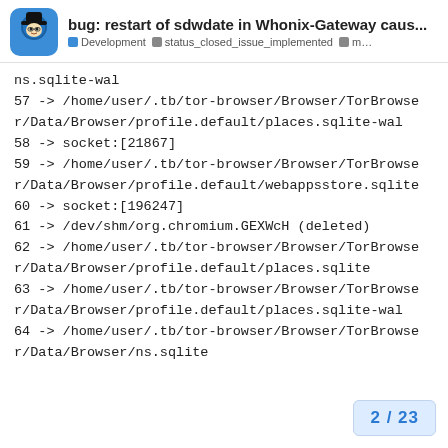bug: restart of sdwdate in Whonix-Gateway caus... | Development | status_closed_issue_implemented | m...
ns.sqlite-wal
57 -> /home/user/.tb/tor-browser/Browser/TorBrowser/Data/Browser/profile.default/places.sqlite-wal
58 -> socket:[21867]
59 -> /home/user/.tb/tor-browser/Browser/TorBrowser/Data/Browser/profile.default/webappsstore.sqlite
60 -> socket:[196247]
61 -> /dev/shm/org.chromium.GEXWcH (deleted)
62 -> /home/user/.tb/tor-browser/Browser/TorBrowser/Data/Browser/profile.default/places.sqlite
63 -> /home/user/.tb/tor-browser/Browser/TorBrowser/Data/Browser/profile.default/places.sqlite-wal
64 -> /home/user/.tb/tor-browser/Browser/TorBrowser/Data/Browser/ns.sqlite
2 / 23